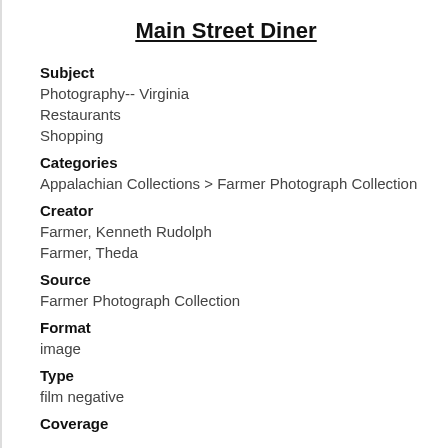Main Street Diner
Subject
Photography-- Virginia
Restaurants
Shopping
Categories
Appalachian Collections > Farmer Photograph Collection
Creator
Farmer, Kenneth Rudolph
Farmer, Theda
Source
Farmer Photograph Collection
Format
image
Type
film negative
Coverage